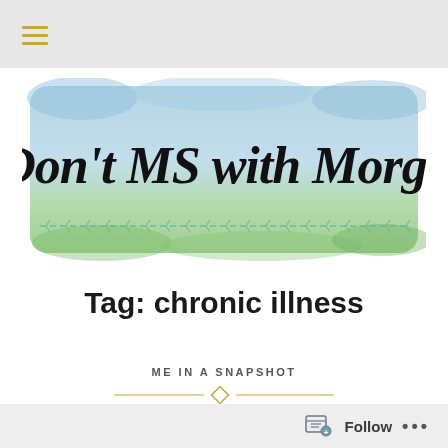≡ (navigation menu)
[Figure (logo): Blog logo image reading 'Don't MS with Morgs' in cursive script on a watercolor background of blue and green with a decorative stitched line border at the bottom]
Tag: chronic illness
ME IN A SNAPSHOT
Follow ...